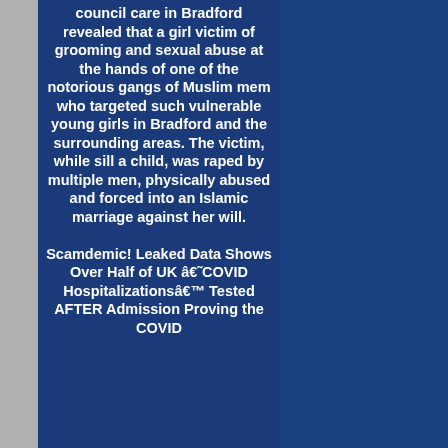council care in Bradford revealed that a girl victim of grooming and sexual abuse at the hands of one of the notorious gangs of Muslim mem who targeted such vulnerable young girls in Bradford and the surrounding areas. The victim, while sill a child, was raped by multiple men, physically abused and forced into an Islamic marriage against her will.
Scamdemic! Leaked Data Shows Over Half of UK â€˜COVID Hospitalizationsâ€™ Tested AFTER Admission Proving the COVID